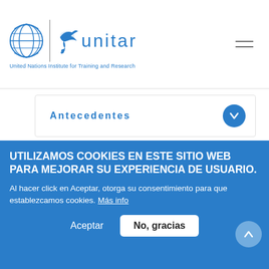UNITAR - United Nations Institute for Training and Research
Antecedentes
Objetivos del aprendizaje
Contenido y estructura
UTILIZAMOS COOKIES EN ESTE SITIO WEB PARA MEJORAR SU EXPERIENCIA DE USUARIO.
Al hacer click en Aceptar, otorga su consentimiento para que establezcamos cookies. Más info
Aceptar
No, gracias